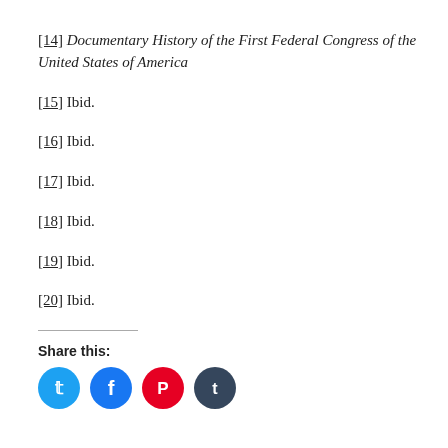[14] Documentary History of the First Federal Congress of the United States of America
[15] Ibid.
[16] Ibid.
[17] Ibid.
[18] Ibid.
[19] Ibid.
[20] Ibid.
Share this: